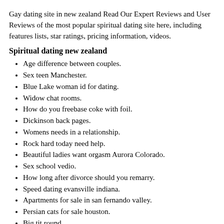Gay dating site in new zealand Read Our Expert Reviews and User Reviews of the most popular spiritual dating site here, including features lists, star ratings, pricing information, videos.
Spiritual dating new zealand
Age difference between couples.
Sex teen Manchester.
Blue Lake woman id for dating.
Widow chat rooms.
How do you freebase coke with foil.
Dickinson back pages.
Womens needs in a relationship.
Rock hard today need help.
Beautiful ladies want orgasm Aurora Colorado.
Sex school vedio.
How long after divorce should you remarry.
Speed dating evansville indiana.
Apartments for sale in san fernando valley.
Persian cats for sale houston.
Big tit round.
Hot sex observed.
Free dating sites latin america.